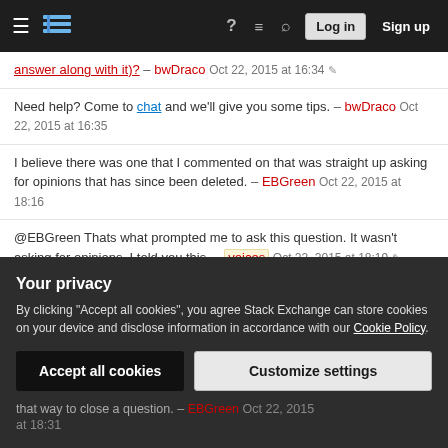Stack Exchange navigation bar with Log in and Sign up buttons
answer along with it)? – bwDraco Oct 22, 2015 at 16:34
Need help? Come to chat and we'll give you some tips. – bwDraco Oct 22, 2015 at 16:35
I believe there was one that I commented on that was straight up asking for opinions that has since been deleted. – EBGreen Oct 22, 2015 at 18:16
@EBGreen Thats what prompted me to ask this question. It wasn't asking for opinions. I told you this. – voices Oct 22, 2015 at 18:19
@Ramhound Yeah. I have deleted some. – voices
Your privacy
By clicking "Accept all cookies", you agree Stack Exchange can store cookies on your device and disclose information in accordance with our Cookie Policy.
Accept all cookies  Customize settings
that way to close a question. – EBGreen Oct 22, 2015 at 18:31